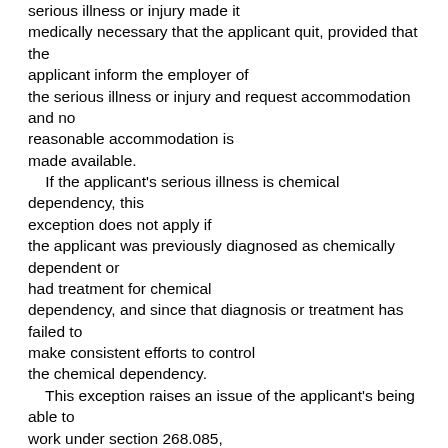serious illness or injury made it medically necessary that the applicant quit, provided that the applicant inform the employer of the serious illness or injury and request accommodation and no reasonable accommodation is made available.
    If the applicant's serious illness is chemical dependency, this exception does not apply if the applicant was previously diagnosed as chemically dependent or had treatment for chemical dependency, and since that diagnosis or treatment has failed to make consistent efforts to control the chemical dependency.
    This exception raises an issue of the applicant's being able to work under section 268.085, subdivision 1 , that the commissioner shall determine;
    (8) the applicant's loss of child care for the applicant's minor child caused the applicant to quit the employment, provided the applicant made reasonable effort to obtain other child care and requested time off or other accommodation from the employer and no reasonable accommodation